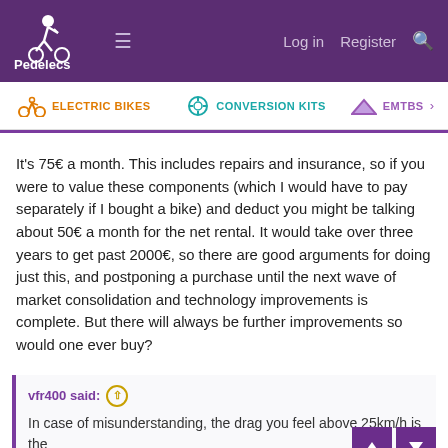Pedelecs — Log in  Register
ELECTRIC BIKES   CONVERSION KITS   EMTBS
It's 75€ a month. This includes repairs and insurance, so if you were to value these components (which I would have to pay separately if I bought a bike) and deduct you might be talking about 50€ a month for the net rental. It would take over three years to get past 2000€, so there are good arguments for doing just this, and postponing a purchase until the next wave of market consolidation and technology improvements is complete. But there will always be further improvements so would one ever buy?
vfr400 said:
In case of misunderstanding, the drag you feel above 25km/h is the